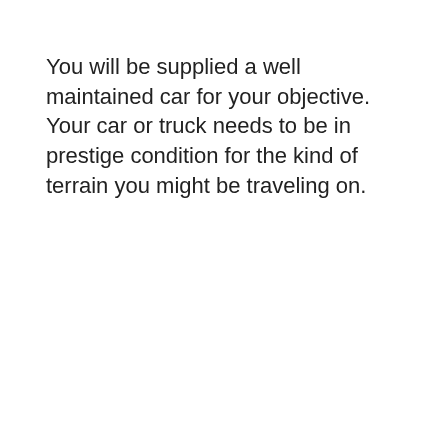You will be supplied a well maintained car for your objective. Your car or truck needs to be in prestige condition for the kind of terrain you might be traveling on.